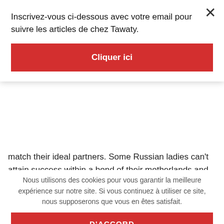Inscrivez-vous ci-dessous avec votre email pour suivre les articles de chez Tawaty.
Cliquer ici
match their ideal partners. Some Russian ladies can't attain success within a bond of their motherlands and comprehend that the mind and comprehension of a different nation fit them adequately. When a male determines to get his Russian lady to his land, he should comprehend that she will sense immense strain. Educational, human, in addition to economic alterations
Nous utilisons des cookies pour vous garantir la meilleure expérience sur notre site. Si vous continuez à utiliser ce site, nous supposerons que vous en êtes satisfait.
D'ACCORD
A Russian princess loves to shine along with her intelligence